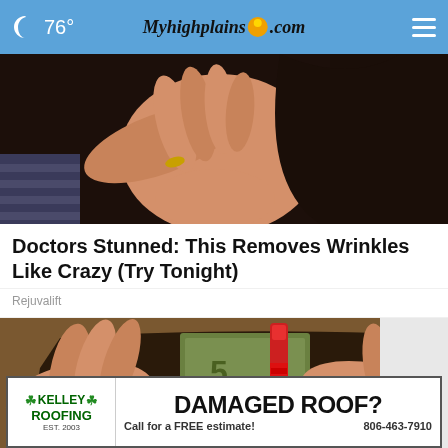76° Myhighplains.com
[Figure (photo): Close-up of a person touching their neck/chin area with their hand, dark hair visible]
Doctors Stunned: This Removes Wrinkles Like Crazy (Try Tonight)
Rejuvalift
[Figure (photo): Hands holding a wallet with a Crayola crayon and euro banknotes visible]
[Figure (infographic): Advertisement banner for Kelley Roofing: DAMAGED ROOF? Call for a FREE estimate! 806-463-7910]